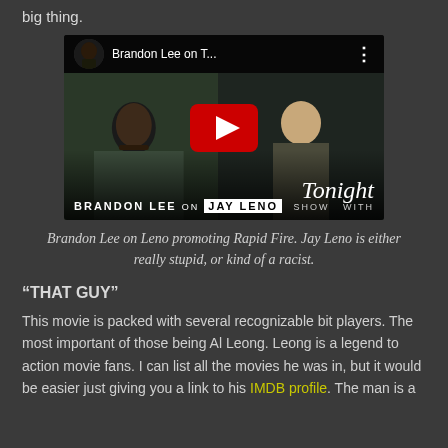big thing.
[Figure (screenshot): YouTube video thumbnail showing Brandon Lee on The Tonight Show with Jay Leno. Title reads 'Brandon Lee on T...' with a play button overlay. Lower portion shows 'BRANDON LEE ON JAY LENO' text and 'Tonight Show' branding.]
Brandon Lee on Leno promoting Rapid Fire. Jay Leno is either really stupid, or kind of a racist.
“THAT GUY”
This movie is packed with several recognizable bit players. The most important of those being Al Leong. Leong is a legend to action movie fans. I can list all the movies he was in, but it would be easier just giving you a link to his IMDB profile. The man is a